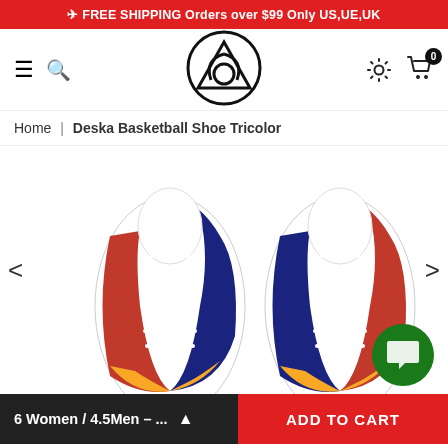FREE SHIPPING Orders over $99 Only US,UE,UK
[Figure (logo): Circular logo with triangular knot symbol (triquetra/trinity) inside a circle]
Home | Deska Basketball Shoe Tricolor
[Figure (photo): Top-down view of two basketball shoes (Deska Basketball Shoe Tricolor) with white laces, showing red, blue, and yellow/navy colorblock pattern]
6 Women / 4.5Men – ...
ADD TO CART